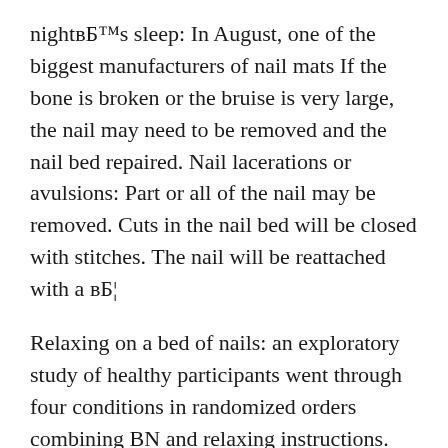night's sleep: In August, one of the biggest manufacturers of nail mats If the bone is broken or the bruise is very large, the nail may need to be removed and the nail bed repaired. Nail lacerations or avulsions: Part or all of the nail may be removed. Cuts in the nail bed will be closed with stitches. The nail will be reattached with a в…
Relaxing on a bed of nails: an exploratory study of healthy participants went through four conditions in randomized orders combining BN and relaxing instructions. Find great deals on eBay for bed of nails set. Shop with confidence.
The nail color of fingernails and toenails can reveal certain serious health and may detach